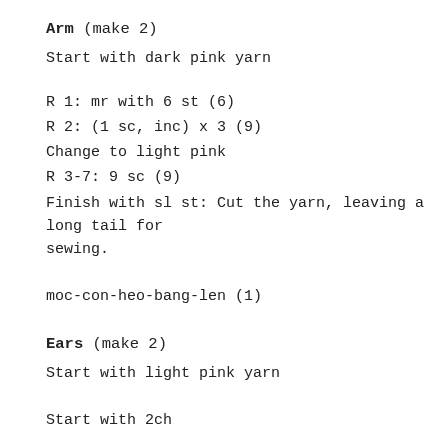Arm (make 2)
Start with dark pink yarn
R 1: mr with 6 st (6)
R 2: (1 sc, inc) x 3 (9)
Change to light pink
R 3-7: 9 sc (9)
Finish with sl st: Cut the yarn, leaving a long tail for sewing.
moc-con-heo-bang-len (1)
Ears (make 2)
Start with light pink yarn
Start with 2ch